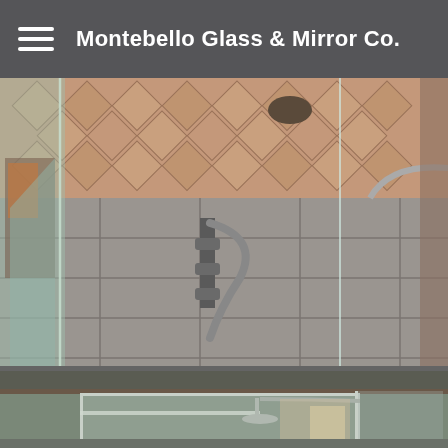Montebello Glass & Mirror Co.
[Figure (photo): Interior photo of a frameless glass shower enclosure with clear glass panels, chrome hardware/hinges, and gray/beige tiled walls and diamond-patterned tile ceiling. A showerhead is visible in the upper portion. Glass panels are in foreground with bathroom fixtures visible through them.]
[Figure (photo): Interior photo of a glass shower enclosure viewed from a lower angle showing frameless glass panels with chrome hardware, green-gray tiled walls, a rainfall showerhead, and a hallway with natural light visible in the background.]